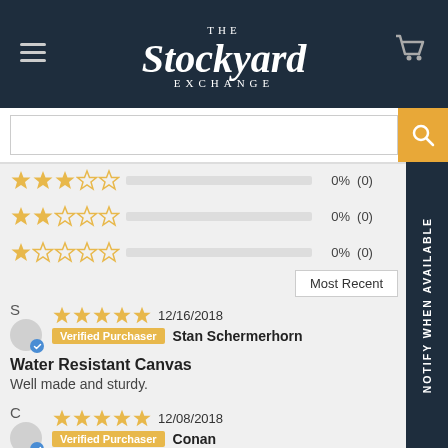The Stockyard Exchange
[Figure (other): Rating distribution rows showing 3-star, 2-star, and 1-star rows each with 0% and (0) reviews]
Most Recent
S
Verified Purchaser Stan Schermerhorn
12/16/2018
Water Resistant Canvas
Well made and sturdy.
C
Verified Purchaser Conan
12/08/2018